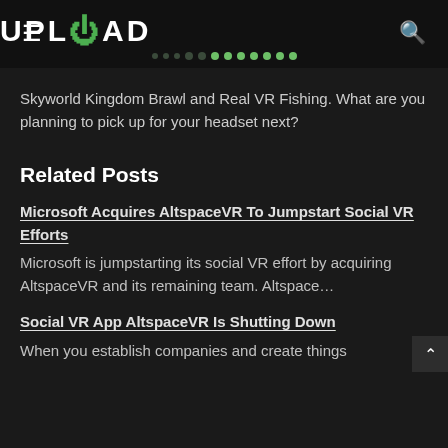UPLOAD
Skyworld Kingdom Brawl and Real VR Fishing. What are you planning to pick up for your headset next?
Related Posts
Microsoft Acquires AltspaceVR To Jumpstart Social VR Efforts
Microsoft is jumpstarting its social VR effort by acquiring AltspaceVR and its remaining team. Altspace…
Social VR App AltspaceVR Is Shutting Down
When you establish companies and create things that ideas for things, you like to…